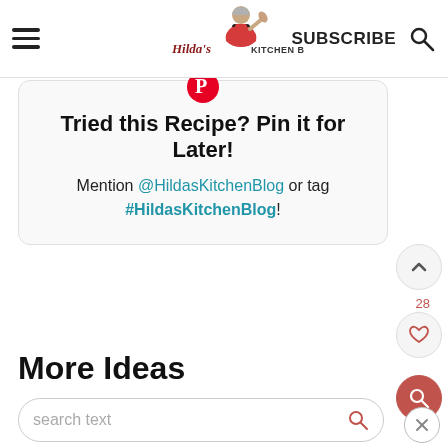Hilda's Kitchen Blog | SUBSCRIBE
Tried this Recipe? Pin it for Later!
Mention @HildasKitchenBlog or tag #HildasKitchenBlog!
More Ideas
search text